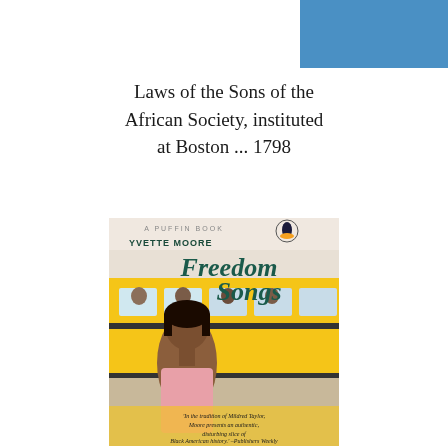[Figure (other): Blue rectangular decorative header bar at top right of page]
Laws of the Sons of the African Society, instituted at Boston ... 1798
[Figure (illustration): Book cover of 'Freedom Songs' by Yvette Moore, a Puffin Book. Cover shows a young Black woman in a pink top standing in front of a yellow school bus. The title 'Freedom Songs' is written in large teal italic script. A quote reads: 'In the tradition of Mildred Taylor, Moore presents an authentic, disturbing slice of Black American history.' - Publishers Weekly]